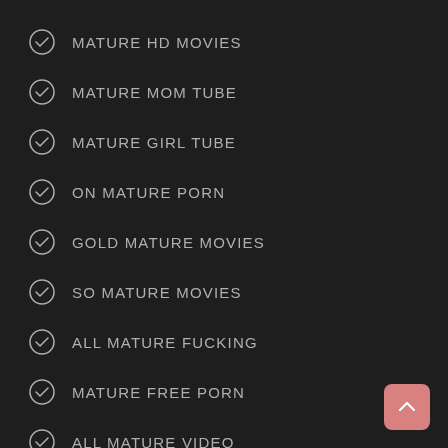MATURE HD MOVIES
MATURE MOM TUBE
MATURE GIRL TUBE
ON MATURE PORN
GOLD MATURE MOVIES
SO MATURE MOVIES
ALL MATURE FUCKING
MATURE FREE PORN
ALL MATURE VIDEO